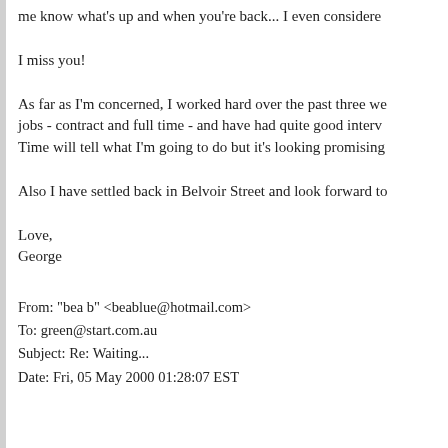me know what's up and when you're back... I even considere
I miss you!
As far as I'm concerned, I worked hard over the past three we jobs - contract and full time - and have had quite good interv Time will tell what I'm going to do but it's looking promising
Also I have settled back in Belvoir Street and look forward to
Love,
George
From: "bea b" <beablue@hotmail.com>
To: green@start.com.au
Subject: Re: Waiting...
Date: Fri, 05 May 2000 01:28:07 EST